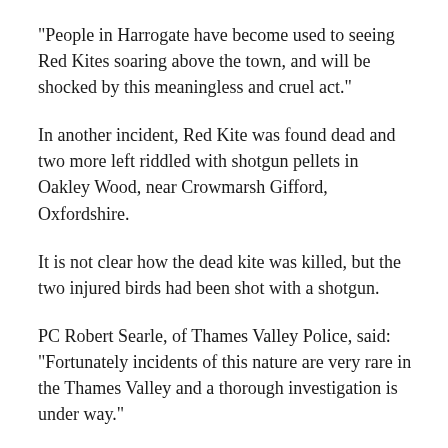“People in Harrogate have become used to seeing Red Kites soaring above the town, and will be shocked by this meaningless and cruel act.”
In another incident, Red Kite was found dead and two more left riddled with shotgun pellets in Oakley Wood, near Crowmarsh Gifford, Oxfordshire.
It is not clear how the dead kite was killed, but the two injured birds had been shot with a shotgun.
PC Robert Searle, of Thames Valley Police, said: “Ffortunately incidents of this nature are very rare in the Thames Valley and a thorough investigation is under way.”